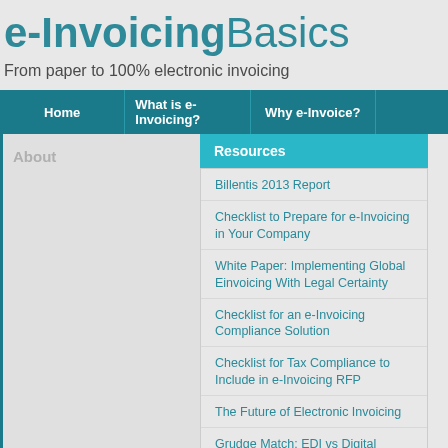e-InvoicingBasics
From paper to 100% electronic invoicing
Home | What is e-Invoicing? | Why e-Invoice?
About
Resources
Billentis 2013 Report
Checklist to Prepare for e-Invoicing in Your Company
White Paper: Implementing Global Einvoicing With Legal Certainty
Checklist for an e-Invoicing Compliance Solution
Checklist for Tax Compliance to Include in e-Invoicing RFP
The Future of Electronic Invoicing
Grudge Match: EDI vs Digital Signatures in